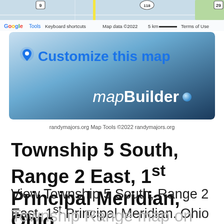[Figure (map): Google Maps strip showing roads near Ohio, with route markers 9, 118, 29, a yellow road, and a green patch. Map data ©2022. Scale bar showing 5 km. Google logo and Tools link visible on left. Keyboard shortcuts, Map data, scale, Terms of Use on the bottom bar.]
[Figure (screenshot): mapBuilder banner ad with blue pin icon, 'Customize this map' text in blue, and 'mapBuilder' text in white italic/bold on dark blue gradient background with a blue dot.]
randymajors.org Map Tools ©2022 randymajors.org
Township 5 South, Range 2 East, 1st Principal Meridian, Ohio
View Township 5 South, Range 2 East, 1st Principal Meridian. Ohio Section
Township Range map on Google Map...